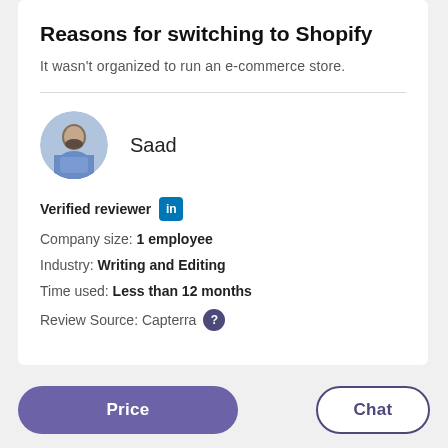Reasons for switching to Shopify
It wasn't organized to run an e-commerce store.
Saad
Verified reviewer [LinkedIn]
Company size: 1 employee
Industry: Writing and Editing
Time used: Less than 12 months
Review Source: Capterra